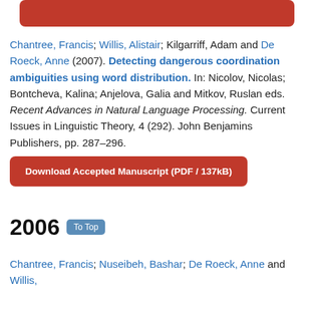[Figure (other): Red rounded button (truncated top, partially visible)]
Chantree, Francis; Willis, Alistair; Kilgarriff, Adam and De Roeck, Anne (2007). Detecting dangerous coordination ambiguities using word distribution. In: Nicolov, Nicolas; Bontcheva, Kalina; Anjelova, Galia and Mitkov, Ruslan eds. Recent Advances in Natural Language Processing. Current Issues in Linguistic Theory, 4 (292). John Benjamins Publishers, pp. 287–296.
[Figure (other): Red rounded button: Download Accepted Manuscript (PDF / 137kB)]
2006
Chantree, Francis; Nuseibeh, Bashar; De Roeck, Anne and Willis,